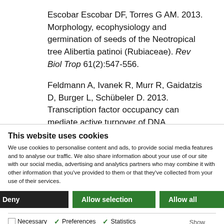Escobar Escobar DF, Torres G AM. 2013. Morphology, ecophysiology and germination of seeds of the Neotropical tree Alibertia patinoi (Rubiaceae). Rev Biol Trop 61(2):547-556.
Feldmann A, Ivanek R, Murr R, Gaidatzis D, Burger L, Schübeler D. 2013. Transcription factor occupancy can mediate active turnover of DNA
This website uses cookies
We use cookies to personalise content and ads, to provide social media features and to analyse our traffic. We also share information about your use of our site with our social media, advertising and analytics partners who may combine it with other information that you've provided to them or that they've collected from your use of their services.